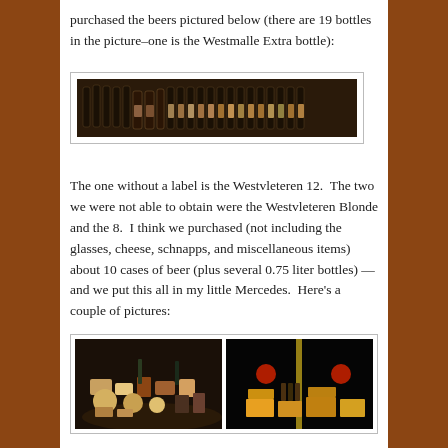purchased the beers pictured below (there are 19 bottles in the picture–one is the Westmalle Extra bottle):
[Figure (photo): Row of approximately 19 beer bottles lined up against a dark background]
The one without a label is the Westvleteren 12.  The two we were not able to obtain were the Westvleteren Blonde and the 8.  I think we purchased (not including the glasses, cheese, schnapps, and miscellaneous items) about 10 cases of beer (plus several 0.75 liter bottles) — and we put this all in my little Mercedes.  Here's a couple of pictures:
[Figure (photo): Two photos side by side showing beer cases and bottles loaded in the trunk of a Mercedes car]